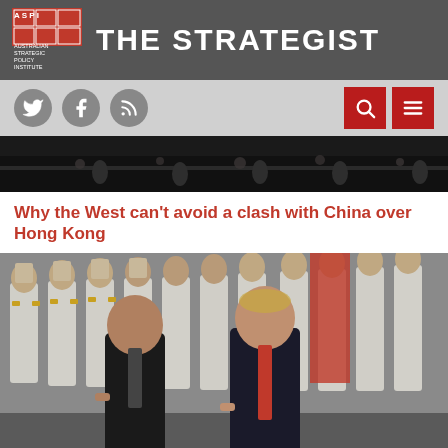THE STRATEGIST — Australian Strategic Policy Institute
[Figure (screenshot): Navigation bar with Twitter, Facebook, RSS social icons on the left and search and menu buttons on the right against a light grey background]
[Figure (photo): Top strip of a news photo showing a crowd of protesters at night in Hong Kong]
Why the West can't avoid a clash with China over Hong Kong
[Figure (photo): Photo of Xi Jinping and Donald Trump walking in front of a row of Chinese military honor guard soldiers in white uniforms with rifles]